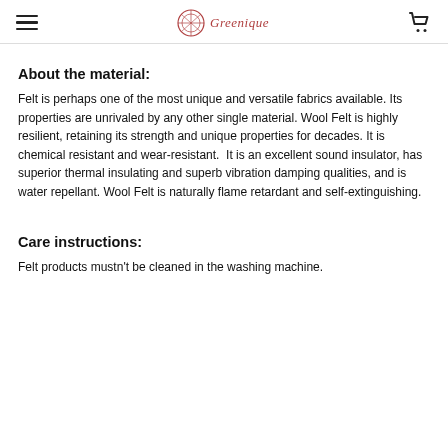Greengue [logo]
About the material:
Felt is perhaps one of the most unique and versatile fabrics available. Its properties are unrivaled by any other single material. Wool Felt is highly resilient, retaining its strength and unique properties for decades. It is chemical resistant and wear-resistant.  It is an excellent sound insulator, has superior thermal insulating and superb vibration damping qualities, and is water repellant. Wool Felt is naturally flame retardant and self-extinguishing.
Care instructions:
Felt products mustn't be cleaned in the washing machine.